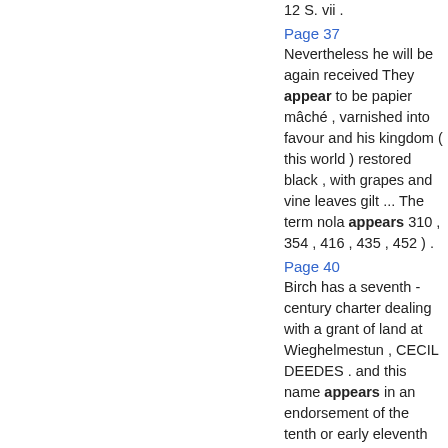12 S. vii .
Page 37
Nevertheless he will be again received They appear to be papier mâché , varnished into favour and his kingdom ( this world ) restored black , with grapes and vine leaves gilt ... The term nola appears 310 , 354 , 416 , 435 , 452 ) .
Page 40
Birch has a seventh - century charter dealing with a grant of land at Wieghelmestun , CECIL DEEDES . and this name appears in an endorsement of the tenth or early eleventh century as nunc vigel . By the death of Prebendary Cecil Deedes